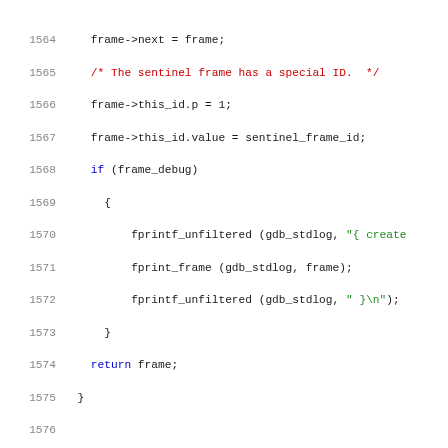Source code listing lines 1564-1585, C code from a GDB-related module
1564    frame->next = frame;
1565    /* The sentinel frame has a special ID.  */
1566    frame->this_id.p = 1;
1567    frame->this_id.value = sentinel_frame_id;
1568    if (frame_debug)
1569      {
1570          fprintf_unfiltered (gdb_stdlog, "{ create
1571          fprint_frame (gdb_stdlog, frame);
1572          fprintf_unfiltered (gdb_stdlog, " }\n");
1573      }
1574    return frame;
1575  }
1576
1577  /* Cache for frame addresses already read by gd
1578     inferior is stopped.  Control variables for
1579     be local to this module.  */
1580
1581  static struct obstack frame_cache_obstack;
1582
1583  void *
1584  frame_obstack_zalloc (unsigned long size)
1585  {